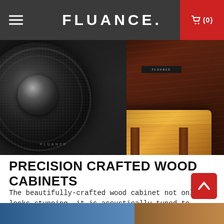FLUANCE. (0)
[Figure (photo): Close-up of Fluance speaker products: a black bookshelf speaker with large woofer on the left, and a dark wood-veneer speaker sitting on a walnut wood table on the right.]
PRECISION CRAFTED WOOD CABINETS
The beautifully-crafted wood cabinet not only looks stunning, it is acoustically tuned to deliver precise, warm, and distortion-free sound that will transport you to your own personal nirvana.